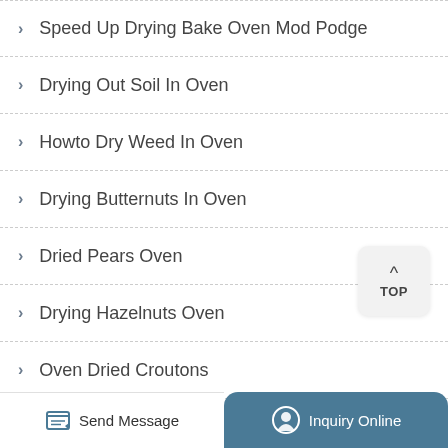Speed Up Drying Bake Oven Mod Podge
Drying Out Soil In Oven
Howto Dry Weed In Oven
Drying Butternuts In Oven
Dried Pears Oven
Drying Hazelnuts Oven
Oven Dried Croutons
Across International Drying Oven Min Micron
Send Message  Inquiry Online